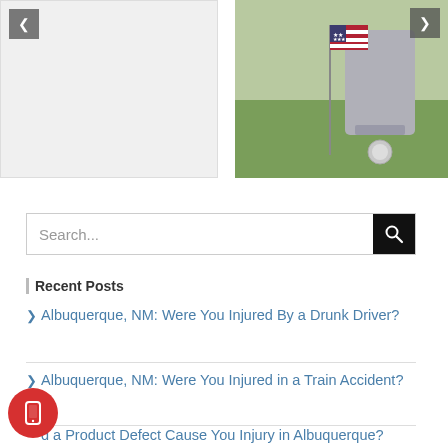[Figure (photo): Left: light gray placeholder image with navigation left arrow. Right: Photo of a gravestone with an American flag in a cemetery.]
Search...
Recent Posts
Albuquerque, NM: Were You Injured By a Drunk Driver?
Albuquerque, NM: Were You Injured in a Train Accident?
d a Product Defect Cause You Injury in Albuquerque?